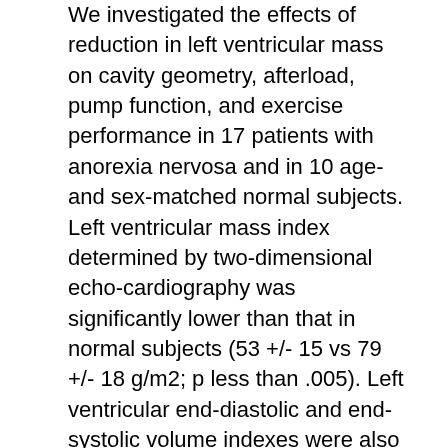We investigated the effects of reduction in left ventricular mass on cavity geometry, afterload, pump function, and exercise performance in 17 patients with anorexia nervosa and in 10 age-and sex-matched normal subjects. Left ventricular mass index determined by two-dimensional echo-cardiography was significantly lower than that in normal subjects (53 +/- 15 vs 79 +/- 18 g/m2; p less than .005). Left ventricular end-diastolic and end-systolic volume indexes were also reduced in patients with anorexia nervosa compared with normal subjects (49 +/- 11 vs 65 +/- 17 ml/m2, p less than .005; 14 +/- 5 vs 19 +/- 4 ml/m2, p less than .025). In spite of the reductions in left ventricular mass and volume indexes, left ventricular chamber